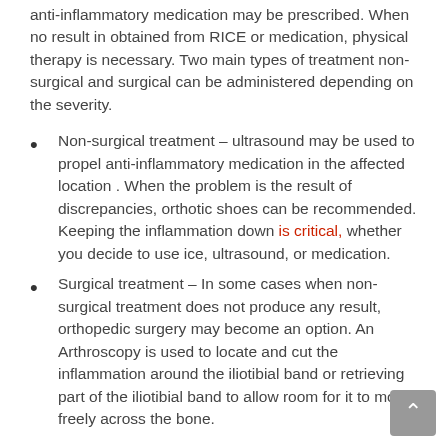anti-inflammatory medication may be prescribed. When no result in obtained from RICE or medication, physical therapy is necessary. Two main types of treatment non-surgical and surgical can be administered depending on the severity.
Non-surgical treatment – ultrasound may be used to propel anti-inflammatory medication in the affected location . When the problem is the result of discrepancies, orthotic shoes can be recommended.  Keeping the inflammation down is critical, whether you decide to use ice, ultrasound, or medication.
Surgical treatment – In some cases when non-surgical treatment does not produce any result, orthopedic surgery may become an option. An Arthroscopy is used to locate and cut the inflammation around the iliotibial band or retrieving part of the iliotibial band to allow room for it to move freely across the bone.